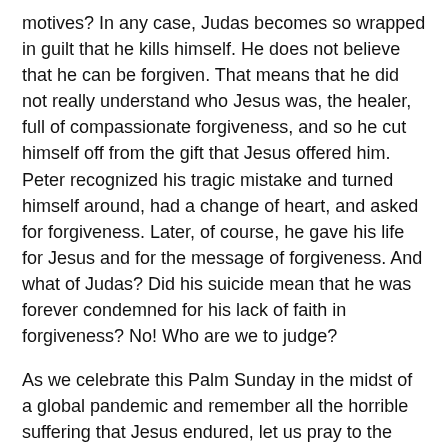motives? In any case, Judas becomes so wrapped in guilt that he kills himself. He does not believe that he can be forgiven. That means that he did not really understand who Jesus was, the healer, full of compassionate forgiveness, and so he cut himself off from the gift that Jesus offered him. Peter recognized his tragic mistake and turned himself around, had a change of heart, and asked for forgiveness. Later, of course, he gave his life for Jesus and for the message of forgiveness. And what of Judas? Did his suicide mean that he was forever condemned for his lack of faith in forgiveness? No! Who are we to judge?
As we celebrate this Palm Sunday in the midst of a global pandemic and remember all the horrible suffering that Jesus endured, let us pray to the suffering Jesus who bore the suffering of his people and the risen Jesus who overcame suffering and death and is now with all who suffer throughout the world.
Let us also ask ourselves what we can do to help those who are in danger and who may be hungry.
As you may know, I co-founded WhyHunger with the late Harry Chapin. We started the first hunger hotline in